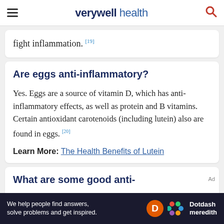verywell health
fight inflammation. [19]
Are eggs anti-inflammatory?
Yes. Eggs are a source of vitamin D, which has anti-inflammatory effects, as well as protein and B vitamins. Certain antioxidant carotenoids (including lutein) also are found in eggs. [20]
Learn More: The Health Benefits of Lutein
What are some good anti-
We help people find answers, solve problems and get inspired. Dotdash meredith